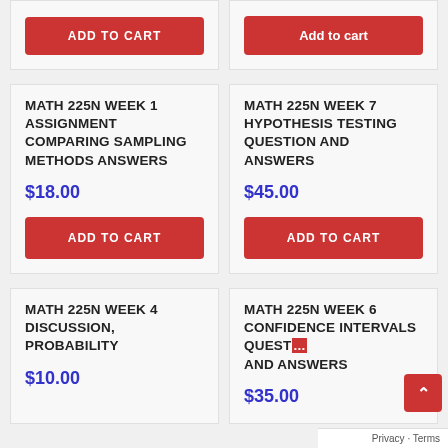[Figure (screenshot): E-commerce product grid showing math course assignment answers for sale]
ADD TO CART
Add to cart
MATH 225N WEEK 1 ASSIGNMENT COMPARING SAMPLING METHODS ANSWERS
$18.00
ADD TO CART
MATH 225N WEEK 7 HYPOTHESIS TESTING QUESTION AND ANSWERS
$45.00
ADD TO CART
MATH 225N WEEK 4 DISCUSSION, PROBABILITY
$10.00
MATH 225N WEEK 6 CONFIDENCE INTERVALS QUESTION AND ANSWERS
$35.00